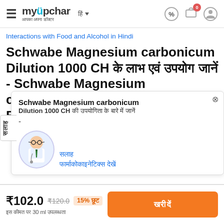myUpchar - आपका अपना डॉक्टर [navigation bar with hamburger, logo, language selector, discount icon, cart with badge 0, profile icon]
Interactions with Food and Alcohol in Hindi
Schwabe Magnesium carbonicum Dilution 1000 CH के लाभ एवं उपयोग जानें - Schwabe Magnesium carbonicum Dilution 1000 CH Benefits & Uses in Hindi
[Figure (other): Popup overlay showing: close button (x), bold title 'Schwabe Magnesium carbonicum', subtitle 'Dilution 1000 CH की उपयोगिता के बारे में जानें', dash '-', doctor avatar image, blue link text 'सलाह', blue link 'फार्माकोकाइनेटिक्स देखें'. Vertical sidebar label 'सलाह'. Doctor illustration on left.]
₹102.0  ₹120.0  15% OFF
इस कीमत पर 30 ml उपलब्धता
खरीदें